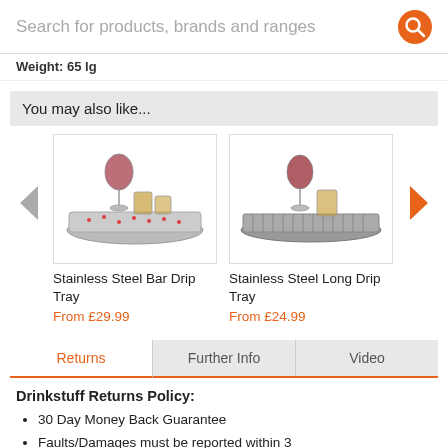Search for products, brands and ranges
Weight: 65 lg
You may also like...
[Figure (photo): Stainless Steel Bar Drip Tray with wine glass and shot glasses]
Stainless Steel Bar Drip Tray
From £29.99
[Figure (photo): Stainless Steel Long Drip Tray with wine glass and tumbler]
Stainless Steel Long Drip Tray
From £24.99
Returns | Further Info | Video
Drinkstuff Returns Policy:
30 Day Money Back Guarantee
Faults/Damages must be reported within 3